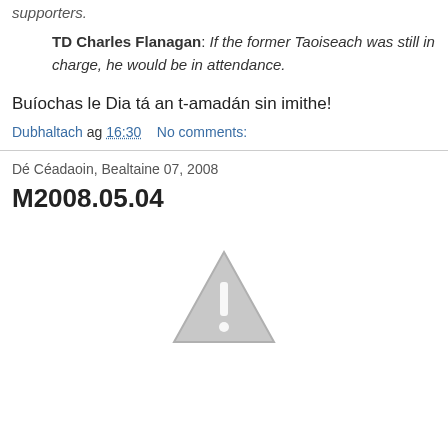supporters.
TD Charles Flanagan: If the former Taoiseach was still in charge, he would be in attendance.
Buíochas le Dia tá an t-amadán sin imithe!
Dubhaltach ag 16:30    No comments:
Dé Céadaoin, Bealtaine 07, 2008
M2008.05.04
[Figure (illustration): Grey warning triangle with exclamation mark icon]